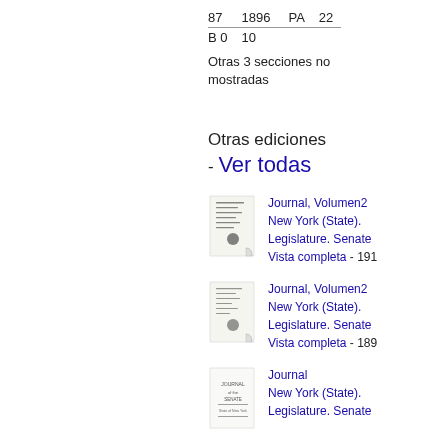| 87 | 1896 | PA | 22 |
| B 0 | 10 |  |  |
Otras 3 secciones no mostradas
Otras ediciones - Ver todas
[Figure (illustration): Thumbnail of book cover - Journal, Volumen 2]
Journal, Volumen2 New York (State). Legislature. Senate Vista completa - 191
[Figure (illustration): Thumbnail of book cover - Journal, Volumen 2]
Journal, Volumen2 New York (State). Legislature. Senate Vista completa - 189
[Figure (illustration): Thumbnail of book cover - Journal]
Journal New York (State). Legislature. Senate